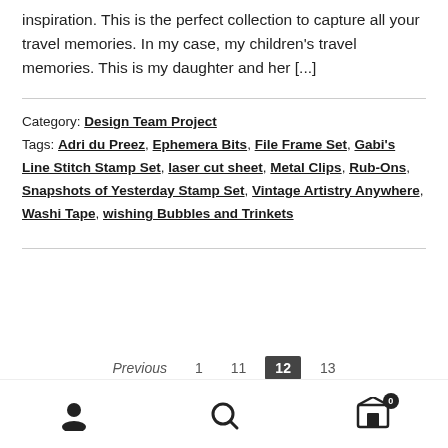inspiration. This is the perfect collection to capture all your travel memories. In my case, my children's travel memories. This is my daughter and her [...]
Category: Design Team Project
Tags: Adri du Preez, Ephemera Bits, File Frame Set, Gabi's Line Stitch Stamp Set, laser cut sheet, Metal Clips, Rub-Ons, Snapshots of Yesterday Stamp Set, Vintage Artistry Anywhere, Washi Tape, wishing Bubbles and Trinkets
Previous  1  11  12  13